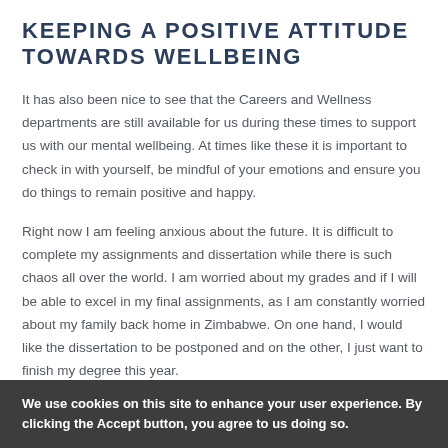KEEPING A POSITIVE ATTITUDE TOWARDS WELLBEING
It has also been nice to see that the Careers and Wellness departments are still available for us during these times to support us with our mental wellbeing. At times like these it is important to check in with yourself, be mindful of your emotions and ensure you do things to remain positive and happy.
Right now I am feeling anxious about the future. It is difficult to complete my assignments and dissertation while there is such chaos all over the world. I am worried about my grades and if I will be able to excel in my final assignments, as I am constantly worried about my family back home in Zimbabwe. On one hand, I would like the dissertation to be postponed and on the other, I just want to finish my degree this year.
We use cookies on this site to enhance your user experience. By clicking the Accept button, you agree to us doing so.